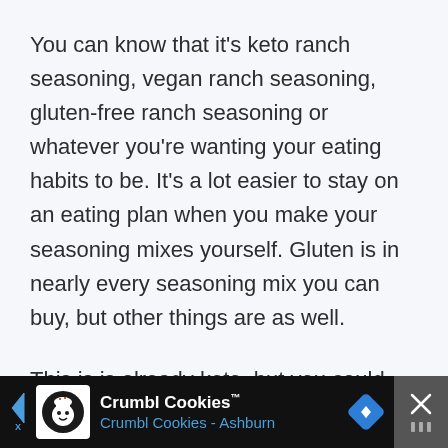You can know that it's keto ranch seasoning, vegan ranch seasoning, gluten-free ranch seasoning or whatever you're wanting your eating habits to be. It's a lot easier to stay on an eating plan when you make your seasoning mixes yourself. Gluten is in nearly every seasoning mix you can buy, but other things are as well.
This is is already keto, but you could make it vegan by omitting the buttermilk seasoning. It's also gluten-free as well.
[Figure (other): Advertisement banner for Crumbl Cookies - Ashburn. Black background with cookie mascot icon, Crumbl Cookies brand name with TM mark, blue subtitle 'Crumbl Cookies - Ashburn', blue navigation arrow diamond icon, and close X button on right.]